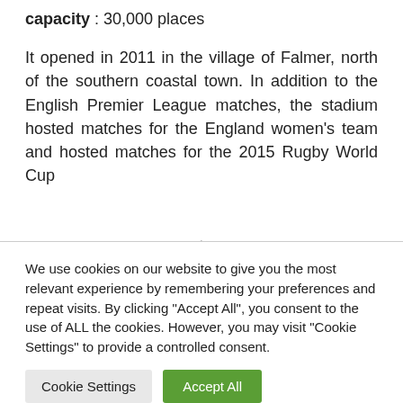capacity : 30,000 places
It opened in 2011 in the village of Falmer, north of the southern coastal town. In addition to the English Premier League matches, the stadium hosted matches for the England women's team and hosted matches for the 2015 Rugby World Cup
We use cookies on our website to give you the most relevant experience by remembering your preferences and repeat visits. By clicking “Accept All”, you consent to the use of ALL the cookies. However, you may visit "Cookie Settings" to provide a controlled consent.